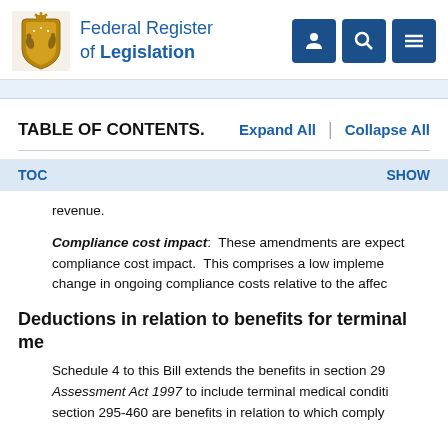Federal Register of Legislation
TABLE OF CONTENTS.
revenue.
Compliance cost impact: These amendments are expect compliance cost impact. This comprises a low impleme change in ongoing compliance costs relative to the affec
Deductions in relation to benefits for terminal me
Schedule 4 to this Bill extends the benefits in section 29 Assessment Act 1997 to include terminal medical conditi section 295-460 are benefits in relation to which comply